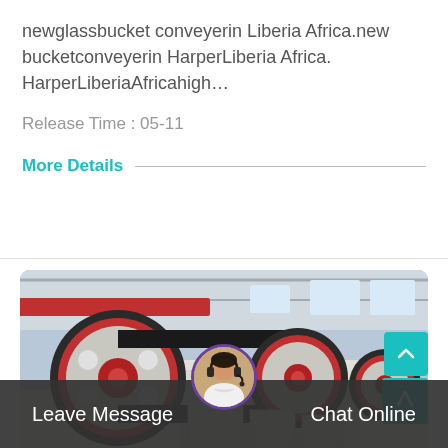newglassbucket conveyerin Liberia Africa.new bucketconveyerin HarperLiberia Africa. HarperLiberiaAfricahigh…
Release Time : 05-11
More Details
[Figure (photo): Industrial machinery in a factory — large red and black pulley wheels on heavy equipment, with steel framework and warehouse ceiling visible in background.]
Leave Message
Chat Online